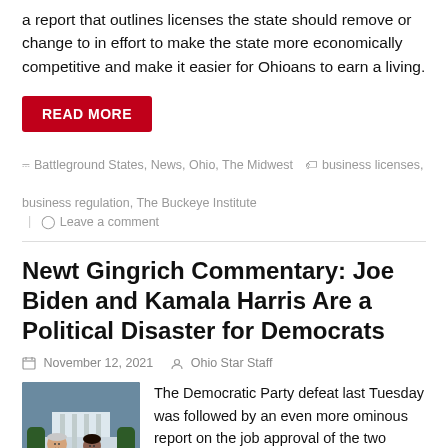a report that outlines licenses the state should remove or change to in effort to make the state more economically competitive and make it easier for Ohioans to earn a living.
READ MORE
Battleground States, News, Ohio, The Midwest  •  business licenses, business regulation, The Buckeye Institute  |  Leave a comment
Newt Gingrich Commentary: Joe Biden and Kamala Harris Are a Political Disaster for Democrats
November 12, 2021   Ohio Star Staff
[Figure (photo): Photo of Joe Biden and Kamala Harris]
The Democratic Party defeat last Tuesday was followed by an even more ominous report on the job approval of the two leading Democrats.
Recall, last week, Democrats lost Virginia in a remarkable